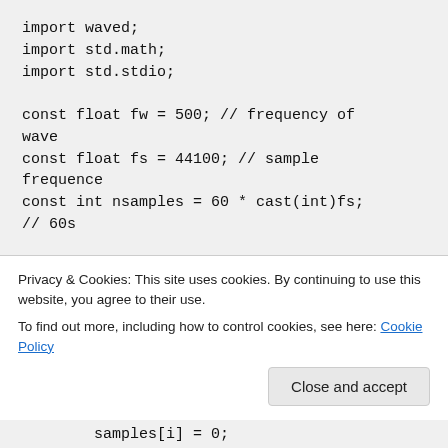import waved;
import std.math;
import std.stdio;

const float fw = 500; // frequency of wave
const float fs = 44100; // sample frequence
const int nsamples = 60 * cast(int)fs; // 60s

void main()
{
        float[] samples = new float[nsamples];
        float dt = 1 / fs;
Privacy & Cookies: This site uses cookies. By continuing to use this website, you agree to their use.
To find out more, including how to control cookies, see here: Cookie Policy
samples[i] = 0;